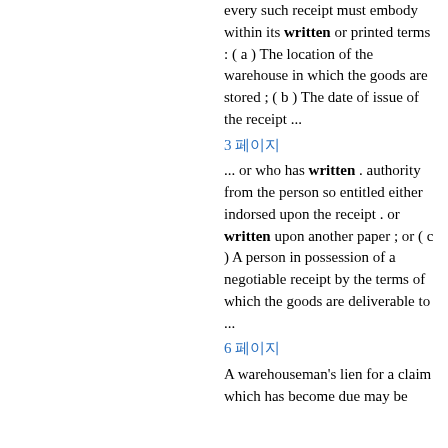every such receipt must embody within its written or printed terms : ( a ) The location of the warehouse in which the goods are stored ; ( b ) The date of issue of the receipt ...
3 페이지
... or who has written . authority from the person so entitled either indorsed upon the receipt . or written upon another paper ; or ( c ) A person in possession of a negotiable receipt by the terms of which the goods are deliverable to ...
6 페이지
A warehouseman's lien for a claim which has become due may be